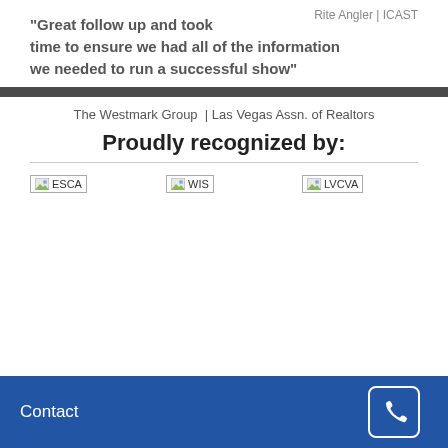Rite Angler | ICAST
“Great follow up and took time to ensure we had all of the information we needed to run a successful show”
The Westmark Group | Las Vegas Assn. of Realtors
Proudly recognized by:
[Figure (logo): ESCA logo placeholder]
[Figure (logo): WIS logo placeholder]
[Figure (logo): LVCVA logo placeholder]
Contact